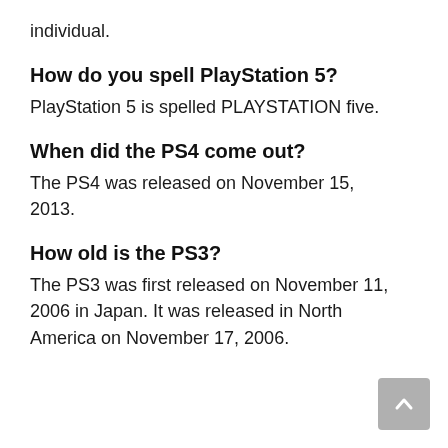individual.
How do you spell PlayStation 5?
PlayStation 5 is spelled PLAYSTATION five.
When did the PS4 come out?
The PS4 was released on November 15, 2013.
How old is the PS3?
The PS3 was first released on November 11, 2006 in Japan. It was released in North America on November 17, 2006.